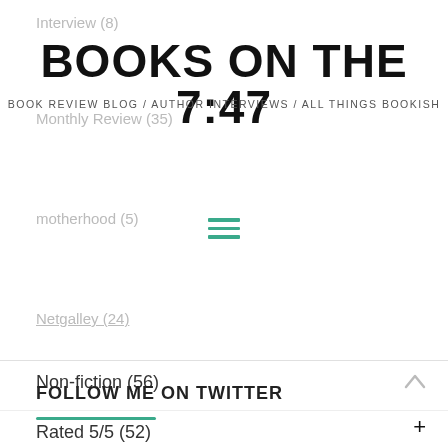Interview (8)
BOOKS ON THE 7:47
Monthly Review (35)
BOOK REVIEW BLOG / AUTHOR INTERVIEWS / ALL THINGS BOOKISH
motherhood (5)
[Figure (other): Hamburger menu icon with three horizontal teal lines]
Netgalley (24)
Non-fiction (56)
Rated 5/5 (52)
Screenplay (1)
Top 5 (29)
WWW Wednesday (49)
FOLLOW ME ON TWITTER